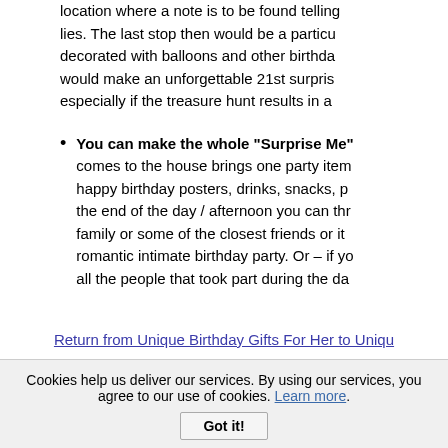location where a note is to be found telling lies. The last stop then would be a particu decorated with balloons and other birthda would make an unforgettable 21st surpris especially if the treasure hunt results in a
You can make the whole "Surprise Me" comes to the house brings one party item happy birthday posters, drinks, snacks, p the end of the day / afternoon you can thr family or some of the closest friends or it romantic intimate birthday party. Or – if y all the people that took part during the da
Return from Unique Birthday Gifts For Her to Uniqu
Return from Unique Birthday Gifts For Her to Son
Cookies help us deliver our services. By using our services, you agree to our use of cookies. Learn more. Got it!